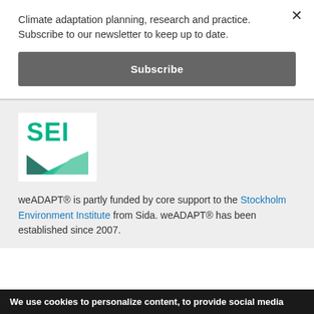Climate adaptation planning, research and practice. Subscribe to our newsletter to keep up to date.
Subscribe
[Figure (logo): SEI (Stockholm Environment Institute) logo with teal/green text and angular wave graphic below]
weADAPT® is partly funded by core support to the Stockholm Environment Institute from Sida. weADAPT® has been established since 2007.
We use cookies to personalize content, to provide social media